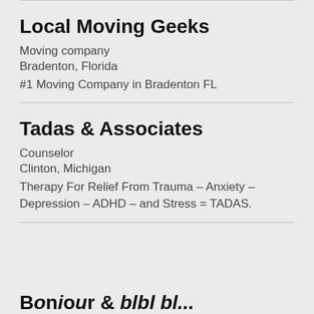Local Moving Geeks
Moving company
Bradenton, Florida
#1 Moving Company in Bradenton FL
Tadas & Associates
Counselor
Clinton, Michigan
Therapy For Relief From Trauma – Anxiety – Depression – ADHD – and Stress = TADAS.
Boniour & blbl bl...